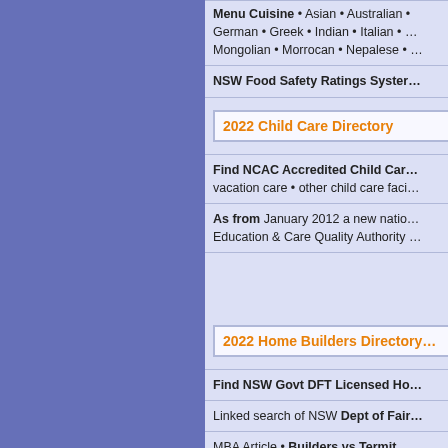Menu Cuisine • Asian • Australian • German • Greek • Indian • Italian • … Mongolian • Morrocan • Nepalese • …
NSW Food Safety Ratings System
2022 Child Care Directory
Find NCAC Accredited Child Care … vacation care • other child care faci…
As from January 2012 a new natio… Education & Care Quality Authority …
2022 Home Builders Directory
Find NSW Govt DFT Licensed Ho…
Linked search of NSW Dept of Fair…
MBA Article • Builders vs Termit… builders • learn how to avoid such b…